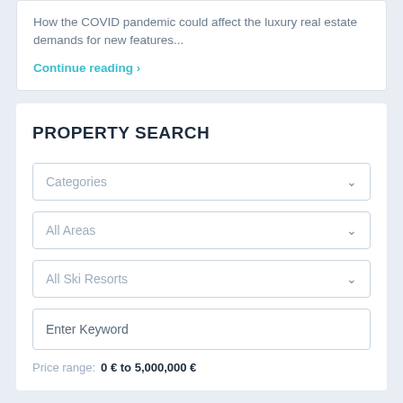How the COVID pandemic could affect the luxury real estate demands for new features...
Continue reading ›
PROPERTY SEARCH
Categories
All Areas
All Ski Resorts
Enter Keyword
Price range:  0 € to 5,000,000 €